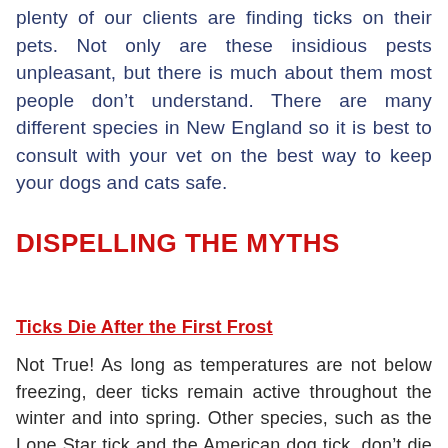plenty of our clients are finding ticks on their pets. Not only are these insidious pests unpleasant, but there is much about them most people don't understand. There are many different species in New England so it is best to consult with your vet on the best way to keep your dogs and cats safe.
DISPELLING THE MYTHS
Ticks Die After the First Frost
Not True! As long as temperatures are not below freezing, deer ticks remain active throughout the winter and into spring. Other species, such as the Lone Star tick and the American dog tick, don't die off at all, they just become dormant in